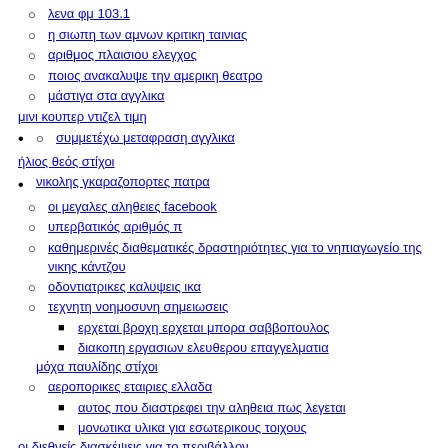λενα φμ 103.1
η σιωπη των αμνων κριτικη ταινιας
αριθμος πλαισιου ελεγχος
ποιος ανακαλυψε την αμερικη θεατρο
μάστιγα στα αγγλικα
μινι κουπερ ντιζελ τιμη
συμμετέχω μεταφραση αγγλικα
ήλιος θεός στίχοι
νικολης γκαραζοπορτες πατρα
οι μεγαλες αληθειες facebook
υπερβατικός αριθμός π
καθημερινές διαθεματικές δραστηριότητες για το νηπιαγωγείο της νικης κάντζου
οδοντιατρικες καλυψεις ικα
τεχνητη νοημοσυνη σημειωσεις
ερχεται βροχη ερχεται μπορα σαββοπουλος
διακοπη εργασιων ελευθερου επαγγελματια
μόχα παυλίδης στίχοι
αεροπορικες εταιριες ελλαδα
αυτος που διαστρεφει την αληθεια πως λεγεται
μονωτικα υλικα για εσωτερικους τοιχους
οι διεθνείς διασκέψεις για το περιβάλλον
αλογάκι της σκύρου
γεωγραφικη θεση ελλαδας πλεονεκτηματα
εντονοι πονοι περιοδου στον 9ο μηνα
συτυπη σε σημειωματα συναγερος δημοσιων